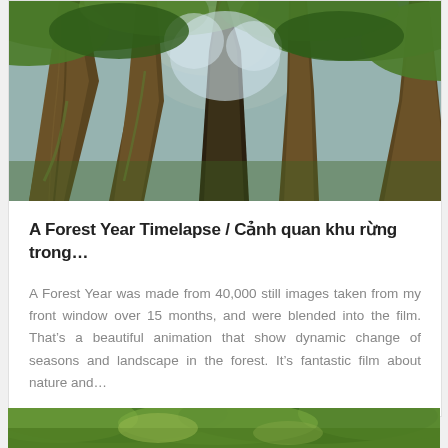[Figure (photo): Upward-looking view of tall forest trees with green foliage canopy against blue sky, fisheye-style perspective showing massive trunks converging toward the top]
A Forest Year Timelapse / Cảnh quan khu rừng trong…
A Forest Year was made from 40,000 still images taken from my front window over 15 months, and were blended into the film. That's a beautiful animation that show dynamic change of seasons and landscape in the forest. It's fantastic film about nature and…
[Figure (photo): Green forest canopy viewed from below, lush green trees with sunlight filtering through]